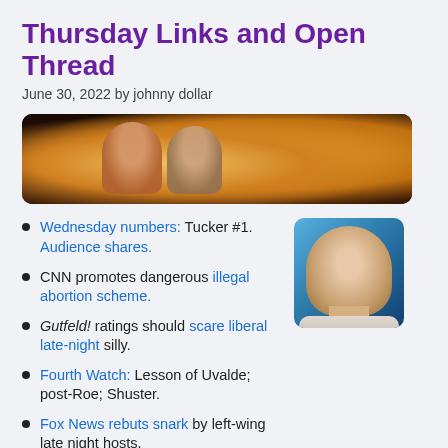Thursday Links and Open Thread
June 30, 2022 by johnny dollar
[Figure (photo): Wide banner photo showing two women with sunglasses, one holding a firearm, with a warm orange/fire background]
Wednesday numbers: Tucker #1. Audience shares.
CNN promotes dangerous illegal abortion scheme.
Gutfeld! ratings should scare liberal late-night silly.
Fourth Watch: Lesson of Uvalde; post-Roe; Shuster.
Fox News rebuts snark by left-wing late night hosts.
[Figure (photo): Thumbnail photo of a middle-aged man (Greg Gutfeld) smiling against a blue background]